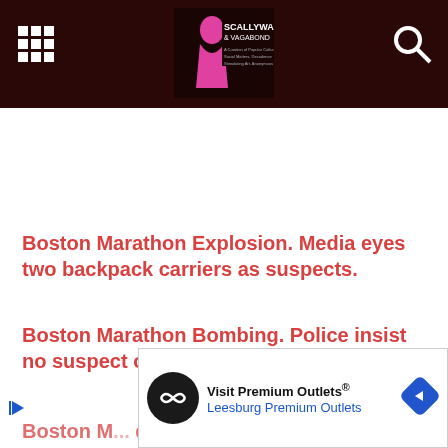Scallywag & Vagabond
Boston Marathon Explosion. Media eyes two backpack carriers as suspects.
Boston Marathon Bombing. Police insist no suspect or arrest made.
Boston M... des left and righ...
[Figure (screenshot): Advertisement banner for Visit Premium Outlets - Leesburg Premium Outlets with logo, text and navigation arrow icon]